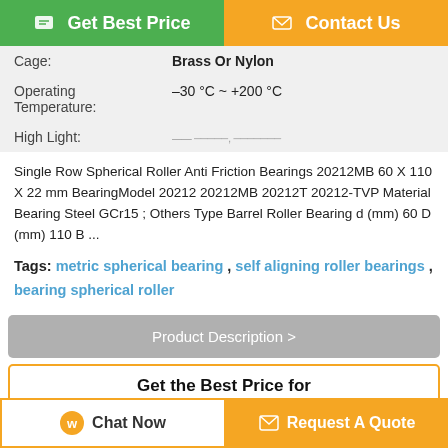[Figure (screenshot): Two top buttons: green 'Get Best Price' and orange 'Contact Us']
| Field | Value |
| --- | --- |
| Cage: | Brass Or Nylon |
| Operating Temperature: | –30 °C ~ +200 °C |
| High Light: |  |
Single Row Spherical Roller Anti Friction Bearings 20212MB 60 X 110 X 22 mm BearingModel 20212 20212MB 20212T 20212-TVP Material Bearing Steel GCr15 ; Others Type Barrel Roller Bearing d (mm) 60 D (mm) 110 B ...
Tags: metric spherical bearing , self aligning roller bearings , bearing spherical roller
Product Description >
Get the Best Price for
Single Row Spherical Roller Anti
[Figure (photo): Product image placeholder for bearing]
Chat Now | Request A Quote